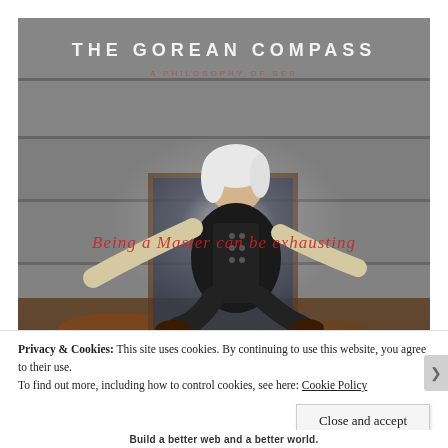[Figure (screenshot): A 3D rendered scene titled 'THE GOREAN COMPASS' with subtitle 'A PHILOSOPHY OF SER'. A fantasy/game character with white hair and dark vest sits in a relaxed pose in a stone room. Overlaid italic red text reads 'Being a Master can be exhausting'. The image has a cinematic quality with light effects.]
Privacy & Cookies: This site uses cookies. By continuing to use this website, you agree to their use. To find out more, including how to control cookies, see here: Cookie Policy
Close and accept
Build a better web and a better world.